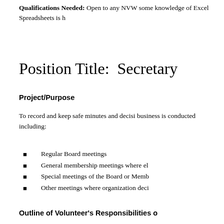Qualifications Needed: Open to any NVW some knowledge of Excel Spreadsheets is h
Position Title:  Secretary
Project/Purpose
To record and keep safe minutes and decisi business is conducted including:
Regular Board meetings
General membership meetings where el
Special meetings of the Board or Memb
Other meetings where organization deci
Outline of Volunteer's Responsibilities o